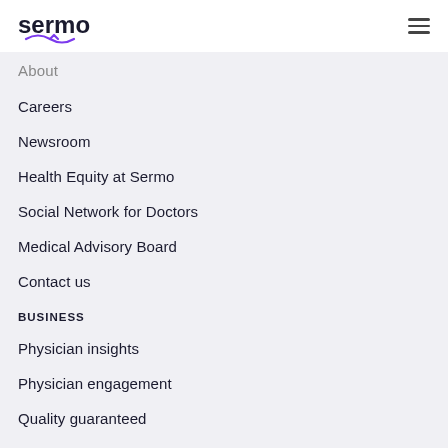sermo
About
Careers
Newsroom
Health Equity at Sermo
Social Network for Doctors
Medical Advisory Board
Contact us
BUSINESS
Physician insights
Physician engagement
Quality guaranteed